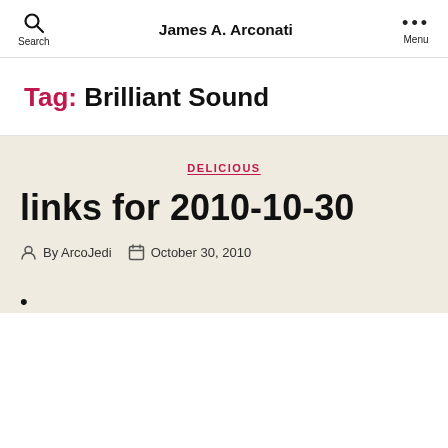James A. Arconati
Tag: Brilliant Sound
DELICIOUS
links for 2010-10-30
By ArcoJedi  October 30, 2010
•